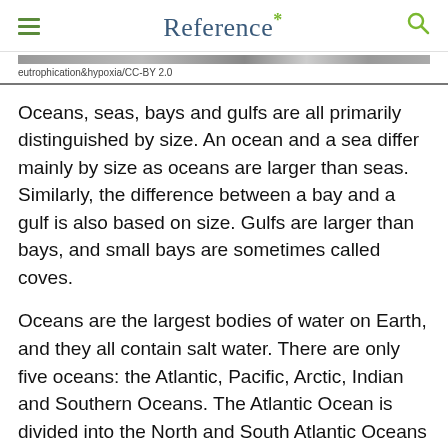Reference*
eutrophication&hypoxia/CC-BY 2.0
Oceans, seas, bays and gulfs are all primarily distinguished by size. An ocean and a sea differ mainly by size as oceans are larger than seas. Similarly, the difference between a bay and a gulf is also based on size. Gulfs are larger than bays, and small bays are sometimes called coves.
Oceans are the largest bodies of water on Earth, and they all contain salt water. There are only five oceans: the Atlantic, Pacific, Arctic, Indian and Southern Oceans. The Atlantic Ocean is divided into the North and South Atlantic Oceans by the equator, and the